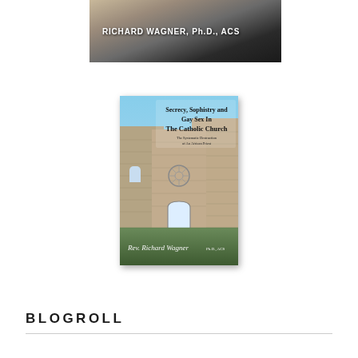[Figure (photo): Top portion of a book cover showing a wooden dock/pier background with a dark object, text reads 'RICHARD WAGNER, Ph.D., ACS' in white bold letters]
[Figure (photo): Book cover for 'Secrecy, Sophistry and Gay Sex In The Catholic Church: The Systematic Destruction of An African Priest' by Rev. Richard Wagner Ph.D., ACS. Shows a ruined stone church building with a rose window and arched doorway against a blue sky, with grass in the foreground.]
BLOGROLL